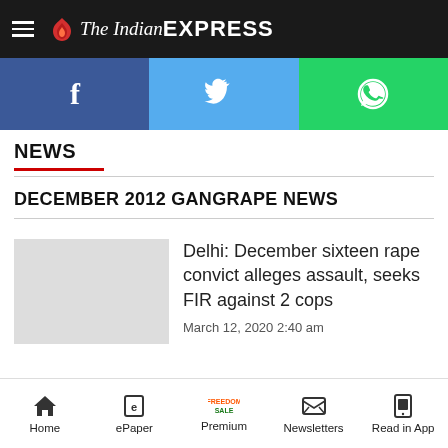The Indian EXPRESS
[Figure (screenshot): Social share buttons: Facebook, Twitter, WhatsApp]
NEWS
DECEMBER 2012 GANGRAPE NEWS
Delhi: December sixteen rape convict alleges assault, seeks FIR against 2 cops
March 12, 2020 2:40 am
Home | ePaper | Premium | Newsletters | Read in App